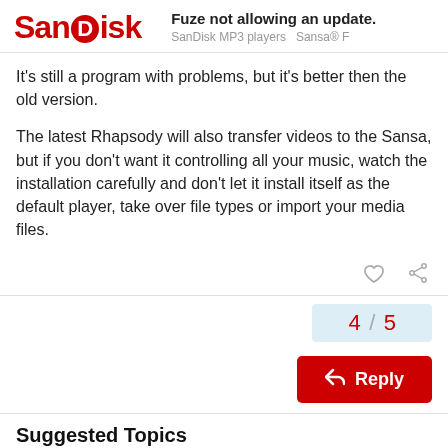SanDisk — Fuze not allowing an update. SanDisk MP3 players  Sansa® F
It's still a program with problems, but it's better then the old version.
The latest Rhapsody will also transfer videos to the Sansa, but if you don't want it controlling all your music, watch the installation carefully and don't let it install itself as the default player, take over file types or import your media files.
4 / 5
Reply
Suggested Topics
Sansa Fuze v2 front and back panel  1